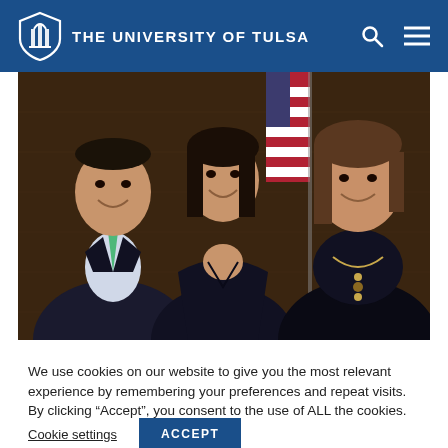THE UNIVERSITY OF TULSA
[Figure (photo): Three people posing for a formal photo in front of an American flag and wood-paneled background. Left: man in dark suit with green tie, smiling. Center: young woman with dark hair in black dress, smiling. Right: woman with brown hair in black outfit with gold necklace, smiling.]
We use cookies on our website to give you the most relevant experience by remembering your preferences and repeat visits. By clicking “Accept”, you consent to the use of ALL the cookies.
Cookie settings  ACCEPT